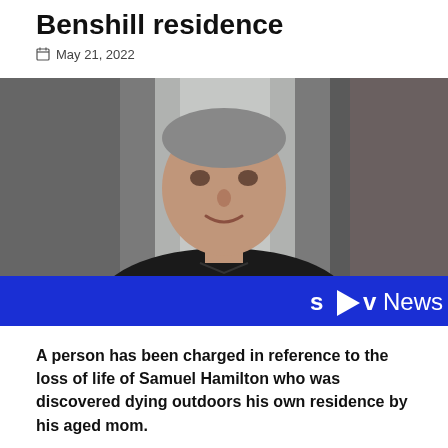Benshill residence
May 21, 2022
[Figure (photo): Photo of a middle-aged man with short grey hair, wearing a dark polo shirt, smiling slightly. There is a blue STV News banner at the bottom of the image.]
A person has been charged in reference to the loss of life of Samuel Hamilton who was discovered dying outdoors his own residence by his aged mom.